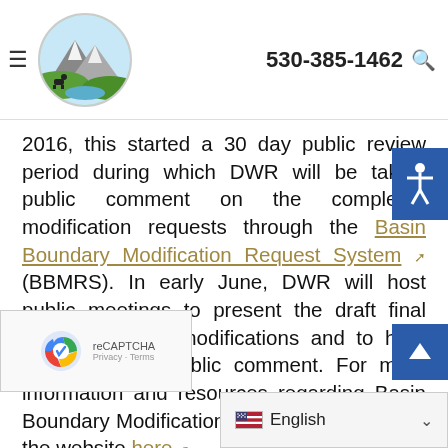530-385-1462
2016, this started a 30 day public review period during which DWR will be taking public comment on the completed modification requests through the Basin Boundary Modification Request System (BBMRS). In early June, DWR will host public meetings to present the draft final basin boundary modifications and to hear any additional public comment. For more information and resources regarding Basin Boundary Modification Requests please visit the website here.